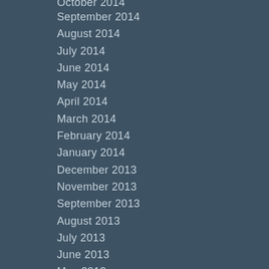September 2014
August 2014
July 2014
June 2014
May 2014
April 2014
March 2014
February 2014
January 2014
December 2013
November 2013
September 2013
August 2013
July 2013
June 2013
May 2013
April 2013
March 2013
February 2013
January 2013
December 2012
October 2012
September 2012